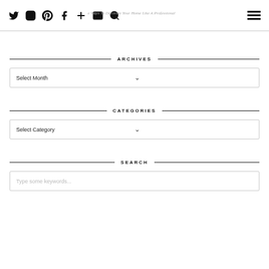Navigation icons: Twitter, Instagram, Pinterest, Facebook, Plus, Mail, Search | Hamburger menu | e Ways To Decorate Your Home Like A Professional
ARCHIVES
Select Month
CATEGORIES
Select Category
SEARCH
Type some keywords...